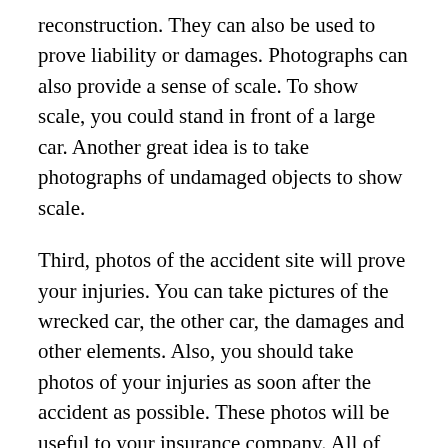reconstruction. They can also be used to prove liability or damages. Photographs can also provide a sense of scale. To show scale, you could stand in front of a large car. Another great idea is to take photographs of undamaged objects to show scale.
Third, photos of the accident site will prove your injuries. You can take pictures of the wrecked car, the other car, the damages and other elements. Also, you should take photos of your injuries as soon after the accident as possible. These photos will be useful to your insurance company. All of this can help your case so your lawyers Abogados de Accidentes Costa Mesa can help you win the case.
Photos of the damage to your or the other driver's